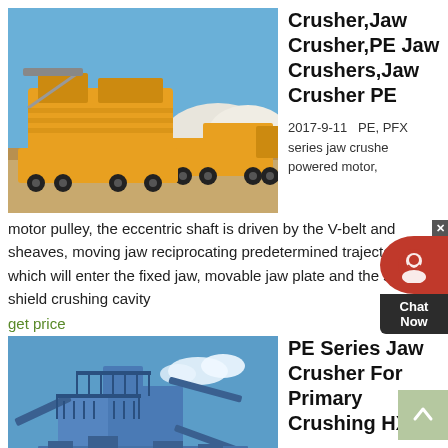[Figure (photo): Orange mobile jaw crusher on trucks at a sandy excavation site with blue sky]
Crusher,Jaw Crusher,PE Jaw Crushers,Jaw Crusher PE
2017-9-11   PE, PFX series jaw crusher powered motor, motor pulley, the eccentric shaft is driven by the V-belt and sheaves, moving jaw reciprocating predetermined trajectory, which will enter the fixed jaw, movable jaw plate and the side shield crushing cavity
get price
[Figure (photo): Blue industrial crushing plant with conveyor belts and steel structures under blue sky]
PE Series Jaw Crusher For Primary Crushing HXJQ
2020-12-7   Jaw crusher is the traditional crushing